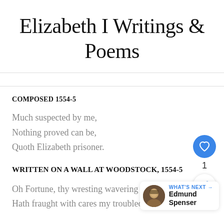Elizabeth I Writings & Poems
COMPOSED 1554-5
Much suspected by me,
Nothing proved can be,
Quoth Elizabeth prisoner.
WRITTEN ON A WALL AT WOODSTOCK, 1554-5
Oh Fortune, thy wresting wavering state
Hath fraught with cares my troubled wit,